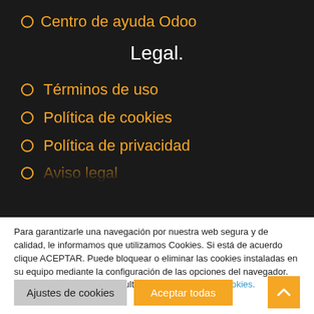Centro de ayuda Odoo
Legal.
Términos de uso
Política de cookies
Política de privacidad
Aviso legal
Para garantizarle una navegación por nuestra web segura y de calidad, le informamos que utilizamos Cookies. Si está de acuerdo clique ACEPTAR. Puede bloquear o eliminar las cookies instaladas en su equipo mediante la configuración de las opciones del navegador. Para más información consulte nuestra Política de Cookies.